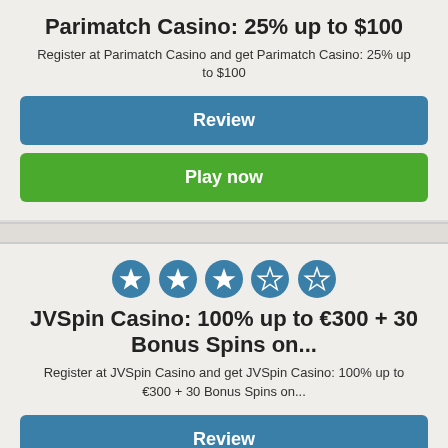Parimatch Casino: 25% up to $100
Register at Parimatch Casino and get Parimatch Casino: 25% up to $100
Review
Play now
[Figure (other): 5 star rating circles, 3 filled blue stars and 2 empty/outline stars]
JVSpin Casino: 100% up to €300 + 30 Bonus Spins on...
Register at JVSpin Casino and get JVSpin Casino: 100% up to €300 + 30 Bonus Spins on...
Review